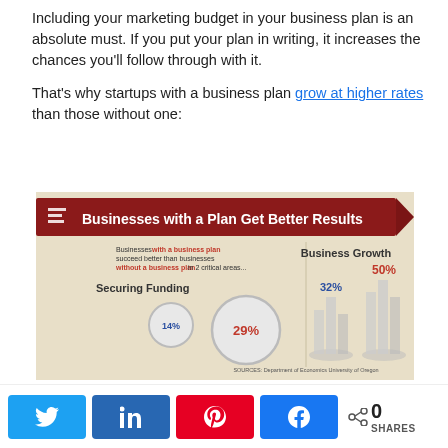Including your marketing budget in your business plan is an absolute must. If you put your plan in writing, it increases the chances you'll follow through with it.
That's why startups with a business plan grow at higher rates than those without one:
[Figure (infographic): Infographic titled 'Businesses with a Plan Get Better Results'. Shows two sections: 'Securing Funding' with circles showing 14% (without plan) and 29% (with plan), and 'Business Growth' with bar chart showing 32% and 50%. Source: Department of Economics University of Oregon.]
0 SHARES — social share buttons: Twitter, LinkedIn, Pinterest, Facebook